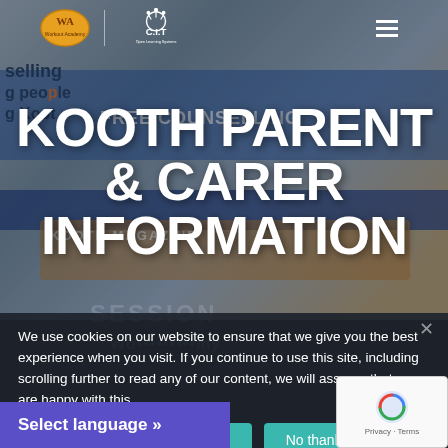[Figure (screenshot): Website screenshot showing WA Workout Academy and C.I.T logos in header. Background shows a colorful educational/counselling illustration with animated characters, 'FREE COUNSELLING' banner, and 'KOOTH MAGAZINE' text. Cookie consent overlay and language selector visible.]
KOOTH PARENT & CARER INFORMATION
We use cookies on our website to ensure that we give you the best experience when you visit. If you continue to use this site, including scrolling further to read any of our content, we will assume that you are happy with this.
I'm happy to proceed
No thanks
Select language »